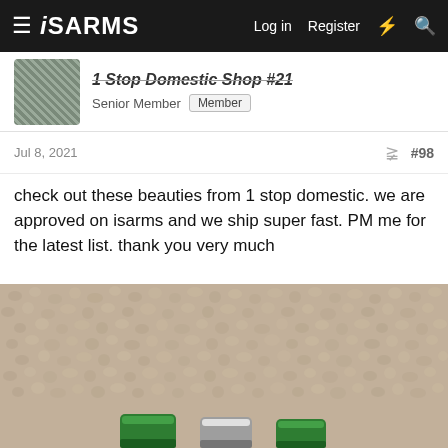iSARMS — Log in  Register
1 Stop Domestic Shop #21
Senior Member  Member
Jul 8, 2021  #98
check out these beauties from 1 stop domestic. we are approved on isarms and we ship super fast. PM me for the latest list. thank you very much
[Figure (photo): Photo of vials with green and silver caps sitting on carpet, partially cropped at the bottom of the frame.]